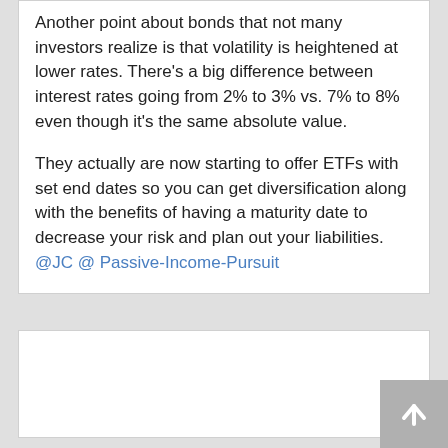Another point about bonds that not many investors realize is that volatility is heightened at lower rates. There's a big difference between interest rates going from 2% to 3% vs. 7% to 8% even though it's the same absolute value.

They actually are now starting to offer ETFs with set end dates so you can get diversification along with the benefits of having a maturity date to decrease your risk and plan out your liabilities. @JC @ Passive-Income-Pursuit
[Figure (illustration): Avatar/profile icon showing a cartoon smiley face with X eyes and big teeth, pink/red coloring, on a pinkish-purple background]
Reply